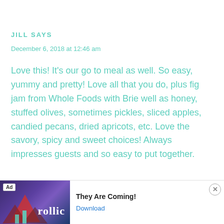JILL SAYS
December 6, 2018 at 12:46 am
Love this! It's our go to meal as well. So easy, yummy and pretty! Love all that you do, plus fig jam from Whole Foods with Brie well as honey, stuffed olives, sometimes pickles, sliced apples, candied pecans, dried apricots, etc. Love the savory, spicy and sweet choices! Always impresses guests and so easy to put together.
[Figure (screenshot): Advertisement banner at the bottom of the page. Shows 'Ad' badge, game screenshot with triangular graphics in purple/dark background, Rollic logo, text 'They Are Coming!' and a 'Download' button link. Has a close X button.]